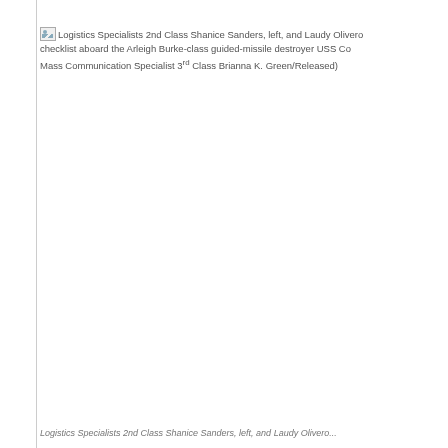[Figure (photo): Broken/missing image placeholder for a photo of Logistics Specialists 2nd Class Shanice Sanders and Laudy Olivero performing a checklist aboard the Arleigh Burke-class guided-missile destroyer USS Cole. Photo credit: Mass Communication Specialist 3rd Class Brianna K. Green/Released.]
Logistics Specialists 2nd Class Shanice Sanders, left, and Laudy Olivero conduct a checklist aboard the Arleigh Burke-class guided-missile destroyer USS Cole. (U.S. Navy photo by Mass Communication Specialist 3rd Class Brianna K. Green/Released)
Logistics Specialists 2nd Class Shanice Sanders, left, and Laudy Olivero...